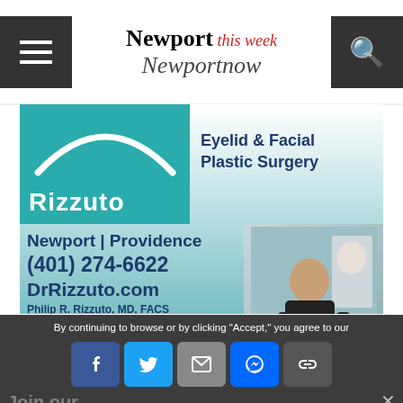Newport this week  Newport now
[Figure (advertisement): Rizzuto Eyelid & Facial Plastic Surgery advertisement. Shows teal Rizzuto logo box with arc, text: Newport | Providence, (401) 274-6622, DrRizzuto.com, Philip R. Rizzuto MD FACS, Facebook and Instagram icons, and photo of doctor with patient poster.]
By continuing to browse or by clicking "Accept," you agree to our
Join our
[Figure (screenshot): Social share buttons: Facebook, Twitter, Email, Messenger, Link, SMS, Plus/Share, and Privacy policy button]